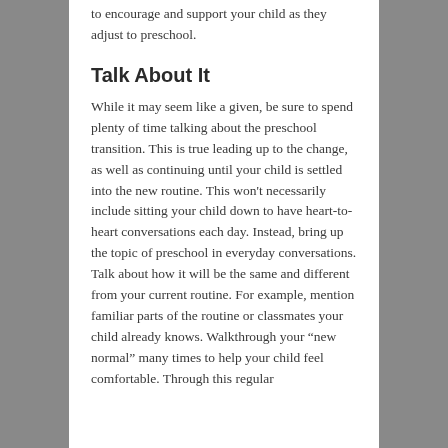to encourage and support your child as they adjust to preschool.
Talk About It
While it may seem like a given, be sure to spend plenty of time talking about the preschool transition. This is true leading up to the change, as well as continuing until your child is settled into the new routine. This won't necessarily include sitting your child down to have heart-to-heart conversations each day. Instead, bring up the topic of preschool in everyday conversations. Talk about how it will be the same and different from your current routine. For example, mention familiar parts of the routine or classmates your child already knows. Walkthrough your “new normal” many times to help your child feel comfortable. Through this regular